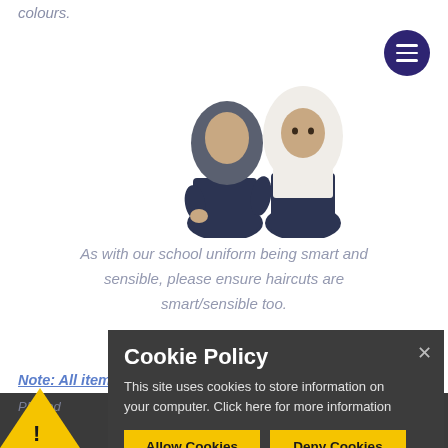colours.
[Figure (photo): Two girls wearing hijabs - one in dark grey/blue hijab and black clothing, another in white hijab and navy clothing, on white background]
As with our school uniform being smart and sensible, please ensure haircuts are smart/sensible too.
Note: All items of clothing must be labelled
PE and
RE
Cookie Policy
This site uses cookies to store information on your computer. Click here for more information
Allow Cookies
Deny Cookies